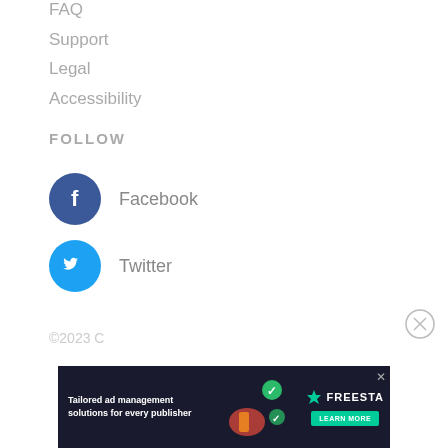FAQ
Support
Legal
Accessibility
FOLLOW
Facebook
Twitter
©2023 C
[Figure (infographic): Advertisement banner: 'Tailored ad management solutions for every publisher' with FREESTA branding and LEARN MORE button]